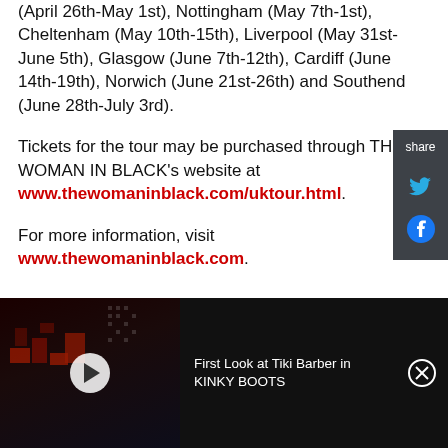(April 26th-May 1st), Nottingham (May 7th-1st), Cheltenham (May 10th-15th), Liverpool (May 31st-June 5th), Glasgow (June 7th-12th), Cardiff (June 14th-19th), Norwich (June 21st-26th) and Southend (June 28th-July 3rd).
Tickets for the tour may be purchased through THE WOMAN IN BLACK's website at www.thewomaninblack.com/uktour.html.
For more information, visit www.thewomaninblack.com.
[Figure (other): Share sidebar with Twitter and Facebook icons on dark background]
[Figure (screenshot): Video thumbnail banner for 'First Look at Tiki Barber in KINKY BOOTS' showing a dark theatrical stage scene with red lighting and set pieces, with a play button overlay]